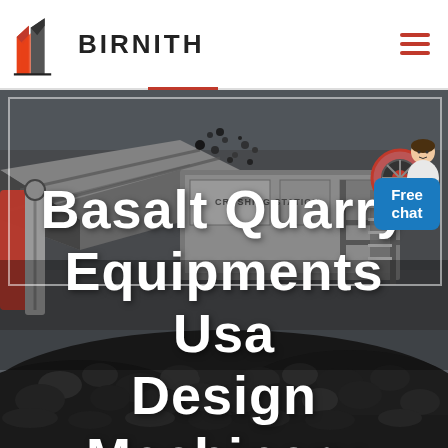BIRNITH
[Figure (photo): Industrial crushing station machinery with large conveyor and rock crushing equipment photographed against a grey sky, with piles of black basalt rock in the foreground.]
Basalt Quarry Equipments Usa Design Machinery